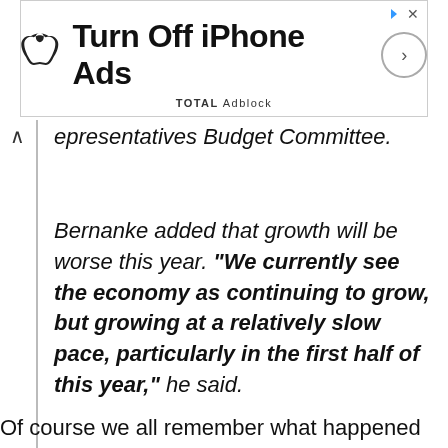[Figure (other): Advertisement banner: Apple logo, 'Turn Off iPhone Ads' text, TOTAL Adblock label, circle arrow button, close X button]
representatives Budget Committee.
Bernanke added that growth will be worse this year. “We currently see the economy as continuing to grow, but growing at a relatively slow pace, particularly in the first half of this year,” he said.
Of course we all remember what happened